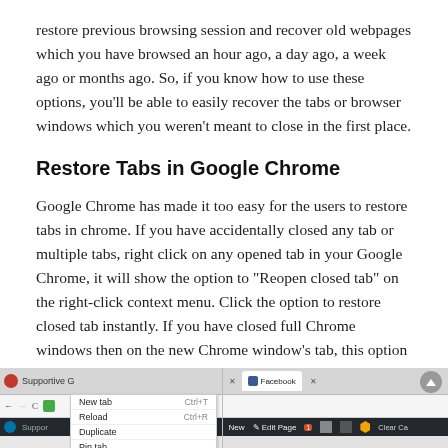restore previous browsing session and recover old webpages which you have browsed an hour ago, a day ago, a week ago or months ago. So, if you know how to use these options, you'll be able to easily recover the tabs or browser windows which you weren't meant to close in the first place.
Restore Tabs in Google Chrome
Google Chrome has made it too easy for the users to restore tabs in chrome. If you have accidentally closed any tab or multiple tabs, right click on any opened tab in your Google Chrome, it will show the option to “Reopen closed tab” on the right-click context menu. Click the option to restore closed tab instantly. If you have closed full Chrome windows then on the new Chrome window’s tab, this option will say “Reopen closed window” allowing you to restore whole previous chrome window will all its tabs.
[Figure (screenshot): Two side-by-side screenshots of Google Chrome browser. Left screenshot shows a right-click context menu on the Chrome tab bar with options: New tab (Ctrl+T), Reload (Ctrl+R), Duplicate, Pin tab. Right screenshot shows a Chrome window with a Facebook tab open and the WordPress admin toolbar at the bottom.]